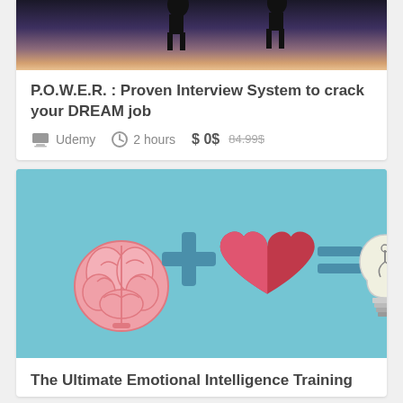[Figure (photo): Dark silhouette photo of people jumping or leaping at sunset/dusk, partially cropped at top]
P.O.W.E.R. : Proven Interview System to crack your DREAM job
Udemy   2 hours   $ 0$  84.99$
[Figure (illustration): Infographic on light blue background showing: brain icon + plus sign + heart icon = equals sign + lightbulb icon]
The Ultimate Emotional Intelligence Training